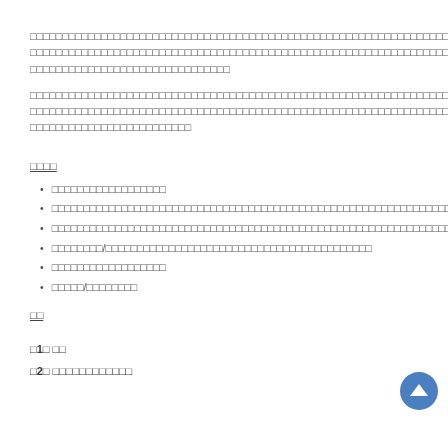□□□□□□□□□□□□□□□□□□□□□□□□□□□□□□□□□□□□□□□□□□□□□□□□□□□□□□□□□□□□□□□□□□□□□□□□□□□□□□□□□□□□□□□□□□□□□□□□□□□□□□□□□□□□□□□□□□□□□□□□□□□□□□□□□□□□□□□□□□□□□□□□□□□□□□□□□□□□□□
□□□□□□□□□□□□□□□□□□□□□□□□□□□□□□□□□□□□□□□□□□□□□□□□□□□□□□□□□□□□□□□□□□□□□□□□□□□□□□□□□□□□□□□□□□□□□□□□□□□□□□□□□□□□□□□□□□□□□□□□□□□□□□□□□□□□□□□□□□□□□□□□□□□□□□□□□□□□□□
□□□□
□□□□□□□□□□□□□□□□□□
□□□□□□□□□□□□□□□□□□□□□□□□□□□□□□□□□□□□□□□□□□□□□□□□□□□□□□□□□□□□
□□□□□□□□□□□□□□□□□□□□□□□□□□□□□□□□□□□□□□□□□□□□□□□□□□□□□□□□□□□□□□□□□□□□□□□□
□□□□□□□□/□□□□□□□□□□□□□□□□□□□□□□□□□□□□□□□□□□□□□□□□□□
□□□□□□□□□□□□□□□□□□
□□□□□/□□□□□□□□
□□
□1□ □□
□2□ □□□□□□□□□□□□